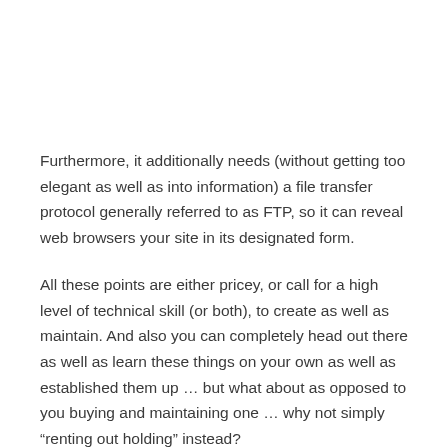Furthermore, it additionally needs (without getting too elegant as well as into information) a file transfer protocol generally referred to as FTP, so it can reveal web browsers your site in its designated form.
All these points are either pricey, or call for a high level of technical skill (or both), to create as well as maintain. And also you can completely head out there as well as learn these things on your own as well as established them up … but what about as opposed to you buying and maintaining one … why not simply “renting out holding” instead?